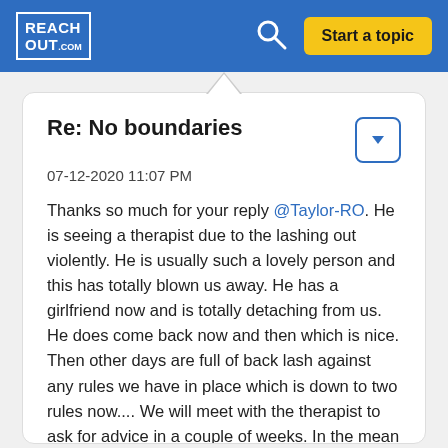REACHOUT.com | Start a topic
Re: No boundaries
07-12-2020 11:07 PM
Thanks so much for your reply @Taylor-RO. He is seeing a therapist due to the lashing out violently. He is usually such a lovely person and this has totally blown us away. He has a girlfriend now and is totally detaching from us. He does come back now and then which is nice. Then other days are full of back lash against any rules we have in place which is down to two rules now.... We will meet with the therapist to ask for advice in a couple of weeks. In the mean time I am gaining alot from reading other parents experiences and I will also contact the parent